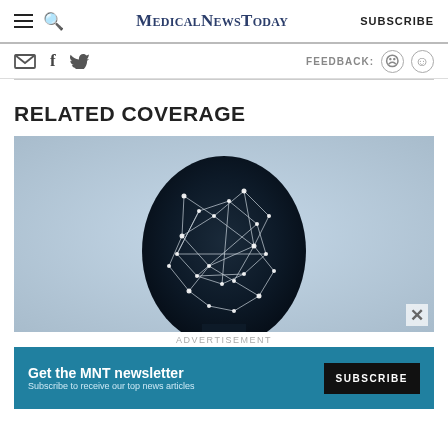MEDICALNEWSTODAY  SUBSCRIBE
RELATED COVERAGE
[Figure (photo): Back of a human head rendered as a dark digital/neural network silhouette with white connecting nodes and lines on a light blue-grey background, representing artificial intelligence or brain connectivity.]
ADVERTISEMENT
Get the MNT newsletter  Subscribe to receive our top news articles  SUBSCRIBE